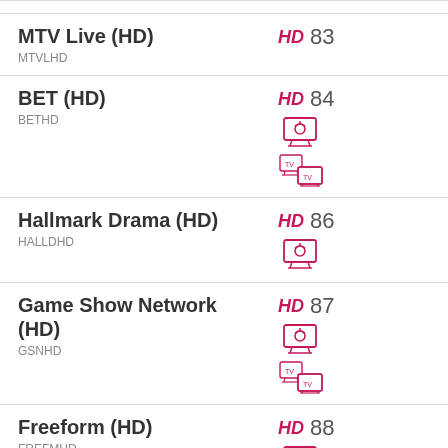MTV Live (HD)
MTVLHD
HD 83
BET (HD)
BETHD
HD 84
Hallmark Drama (HD)
HALLDHD
HD 86
Game Show Network (HD)
GSNHD
HD 87
Freeform (HD)
FREFMHD
HD 88
Discovery Family Channel (HD)
HD 89